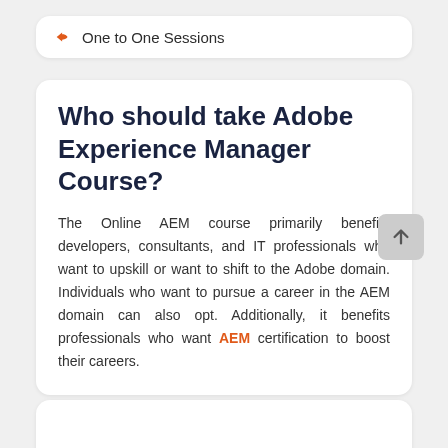One to One Sessions
Who should take Adobe Experience Manager Course?
The Online AEM course primarily benefits developers, consultants, and IT professionals who want to upskill or want to shift to the Adobe domain. Individuals who want to pursue a career in the AEM domain can also opt. Additionally, it benefits professionals who want AEM certification to boost their careers.